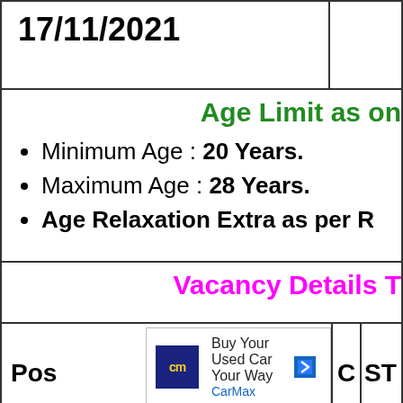17/11/2021
Age Limit as on
Minimum Age : 20 Years.
Maximum Age : 28 Years.
Age Relaxation Extra as per R
Vacancy Details T
Pos
C
ST